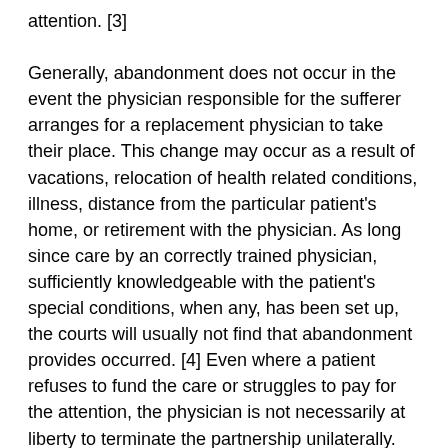attention. [3]

Generally, abandonment does not occur in the event the physician responsible for the sufferer arranges for a replacement physician to take their place. This change may occur as a result of vacations, relocation of health related conditions, illness, distance from the particular patient's home, or retirement with the physician. As long since care by an correctly trained physician, sufficiently knowledgeable with the patient's special conditions, when any, has been set up, the courts will usually not find that abandonment provides occurred. [4] Even where a patient refuses to fund the care or struggles to pay for the attention, the physician is not necessarily at liberty to terminate the partnership unilaterally. The physician must still take steps to offer the patient's care assumed by another [5] or give a sufficiently reasonable time frame to